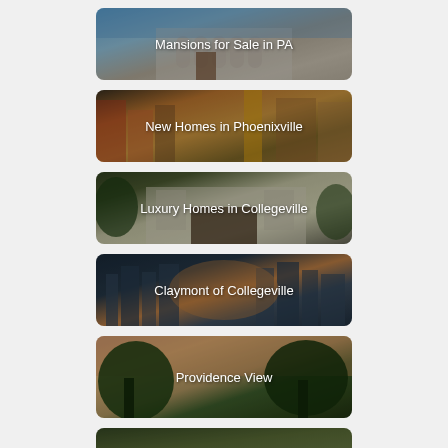[Figure (photo): Mansion exterior with blue sky, grand columns and arched windows. Text overlay: Mansions for Sale in PA]
[Figure (photo): Colorful urban street scene with construction/new homes. Text overlay: New Homes in Phoenixville]
[Figure (photo): Stately luxury home with green trees. Text overlay: Luxury Homes in Collegeville]
[Figure (photo): City skyline at golden hour. Text overlay: Claymont of Collegeville]
[Figure (photo): Trees with sunset sky. Text overlay: Providence View]
[Figure (photo): Partial card at bottom of page, content cut off]